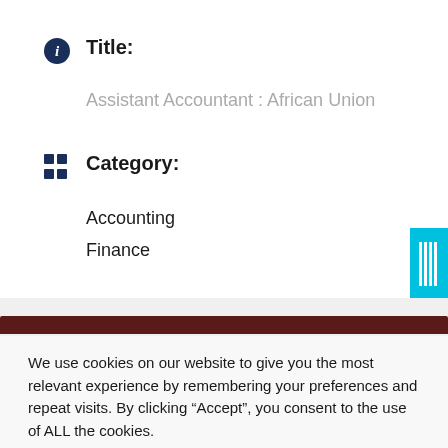Title:
Assistant Accountant : African Union
Category:
Accounting
Finance
We use cookies on our website to give you the most relevant experience by remembering your preferences and repeat visits. By clicking “Accept”, you consent to the use of ALL the cookies.
Cookie settings
ACCEPT